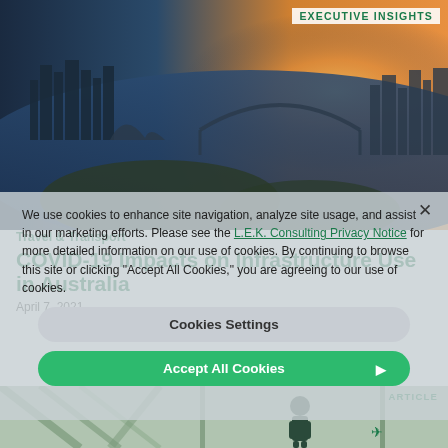EXECUTIVE INSIGHTS
[Figure (photo): Aerial photograph of Sydney Harbour at sunset showing the Opera House, Harbour Bridge, and city skyline with golden-orange sky]
Travel & Transport
COVID-19 Impacts on Infrastructure Use in Australia
April 7, 2021
We use cookies to enhance site navigation, analyze site usage, and assist in our marketing efforts. Please see the L.E.K. Consulting Privacy Notice for more detailed information on our use of cookies. By continuing to browse this site or clicking "Accept All Cookies," you are agreeing to our use of cookies.
Cookies Settings
Accept All Cookies
ARTICLE
[Figure (photo): Partial view of a transportation infrastructure image (airport or transit) with a person silhouette]